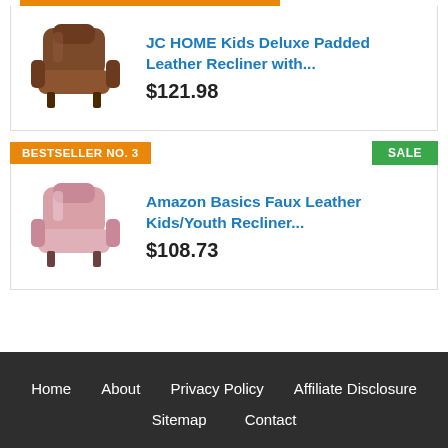[Figure (photo): Brown kids leather recliner chair product image]
JC HOME Kids Deluxe Padded Leather Recliner with...
$121.98
BESTSELLER NO. 3
SALE
[Figure (photo): Pink faux leather kids recliner chair product image]
Amazon Basics Faux Leather Kids/Youth Recliner...
$108.73
Home  About  Privacy Policy  Affiliate Disclosure  Sitemap  Contact